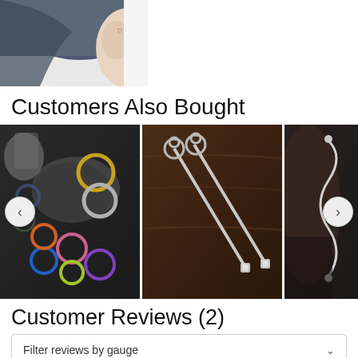[Figure (photo): Partial photo of a person with dark blue hair and an ear piercing, cropped to show just the ear/hair area, light background]
Customers Also Bought
[Figure (photo): Carousel of three product photos: colorful anodized captive rings on dark stone background; silver key-shaped barbells on brown wood background; silver wire/spiral earrings on dark background. Left and right navigation arrows visible.]
Customer Reviews (2)
Filter reviews by gauge
Filter reviews by color / style